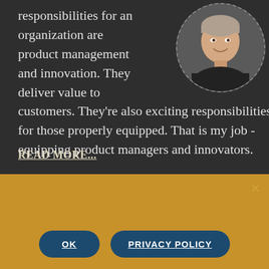responsibilities for an organization are product management and innovation. They deliver value to customers. They're also exciting responsibilities for those properly equipped. That is my job - equipping product managers and innovators.
[Figure (photo): Circular portrait photo of a middle-aged man smiling, wearing a dark jacket, positioned in the upper right of the dark section]
READ MORE...
We use cookies to ensure that we give you the best experience on our website. If you continue to use this site we will assume that you are happy with it.
OK
PRIVACY POLICY